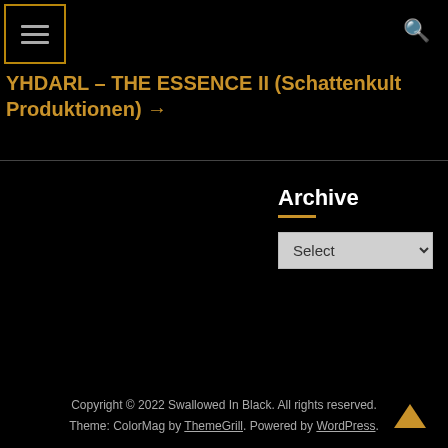Menu icon and search icon header
YHDARL – THE ESSENCE II (Schattenkult Produktionen) →
Archive
Copyright © 2022 Swallowed In Black. All rights reserved. Theme: ColorMag by ThemeGrill. Powered by WordPress.